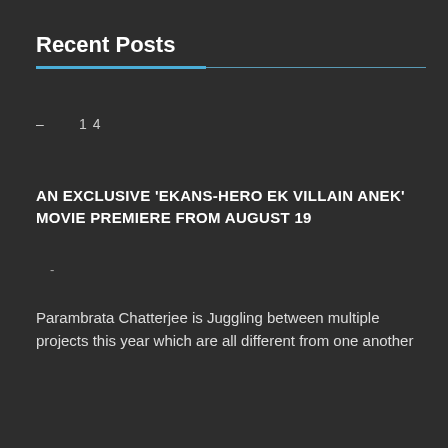Recent Posts
– 14
AN EXCLUSIVE 'EKANS-HERO EK VILLAIN ANEK' MOVIE PREMIERE FROM AUGUST 19
-
Parambrata Chatterjee is Juggling between multiple projects this year which are all different from one another